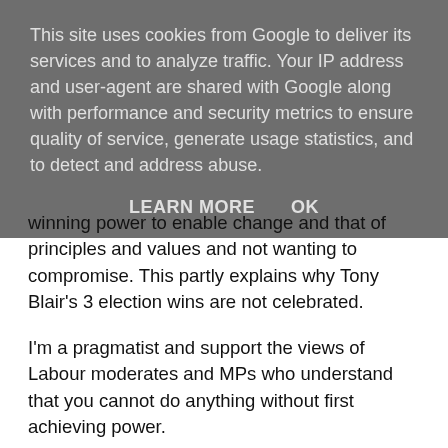This site uses cookies from Google to deliver its services and to analyze traffic. Your IP address and user-agent are shared with Google along with performance and security metrics to ensure quality of service, generate usage statistics, and to detect and address abuse.
LEARN MORE    OK
winning power to enable change and that of principles and values and not wanting to compromise. This partly explains why Tony Blair's 3 election wins are not celebrated.
I'm a pragmatist and support the views of Labour moderates and MPs who understand that you cannot do anything without first achieving power.
Jeremy Corbyn's Labour Party is all about party members wrapping themselves up in a warm comfort blanket, feeling comfortable in their comfort zone. They don't want to do compromise and put forward policies and statements that reflect where many of the electorate actually are.